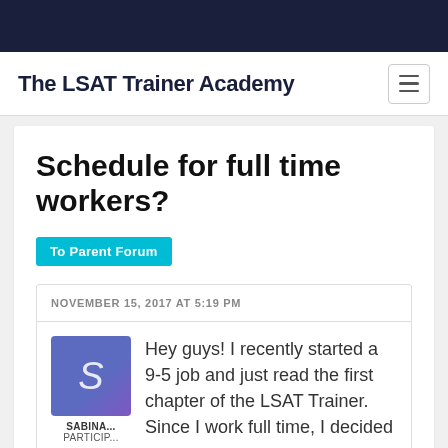The LSAT Trainer Academy
Schedule for full time workers?
To Parent Forum
NOVEMBER 15, 2017 AT 5:19 PM
[Figure (illustration): Avatar image with letter S for user Sabina, purple/blue gradient background]
SABINA...
PARTICIP...
Hey guys! I recently started a 9-5 job and just read the first chapter of the LSAT Trainer. Since I work full time, I decided